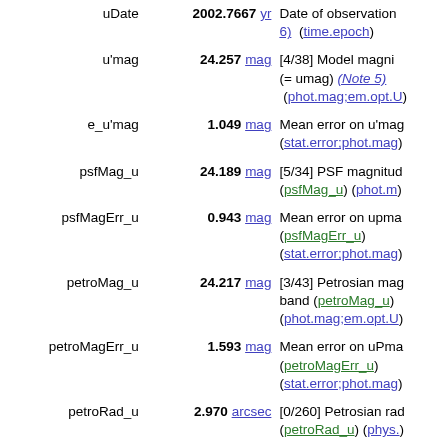| Field | Value | Description |
| --- | --- | --- |
| uDate | 2002.7667 yr | Date of observation (Note 6) (time.epoch) |
| u'mag | 24.257 mag | [4/38] Model magnitude (= umag) (Note 5) (phot.mag;em.opt.U) |
| e_u'mag | 1.049 mag | Mean error on u'mag (stat.error;phot.mag) |
| psfMag_u | 24.189 mag | [5/34] PSF magnitude (psfMag_u) (phot.mag) |
| psfMagErr_u | 0.943 mag | Mean error on upmag (psfMagErr_u) (stat.error;phot.mag) |
| petroMag_u | 24.217 mag | [3/43] Petrosian magnitude u band (petroMag_u) (phot.mag;em.opt.U) |
| petroMagErr_u | 1.593 mag | Mean error on uPmag (petroMagErr_u) (stat.error;phot.mag) |
| petroRad_u | 2.970 arcsec | [0/260] Petrosian radius (petroRad_u) (phys.) |
| petroRadErr_u | arcsec | Mean error in uPrad (petroRadErr_u) (sta...) |
| offsetRa_u | 0.00 arcsec | Offset of u position (offsetRa_u) (pos...) |